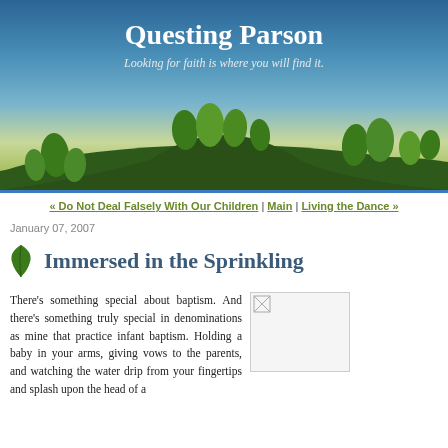Questing Parson
Looking for faith is where you will find it.
[Figure (illustration): Blog header illustration showing a scenic landscape with green rolling hills, stylized green leaf trees, and a blue-to-golden sky gradient. Snow or white ground visible at the bottom.]
« Do Not Deal Falsely With Our Children | Main | Living the Dance »
January 07, 2007
Immersed in the Sprinkling
There's something special about baptism. And there's something truly special in denominations as mine that practice infant baptism. Holding a baby in your arms, giving vows to the parents, and watching the water drip from your fingertips and splash upon the head of a